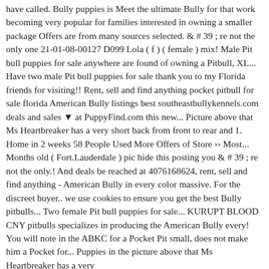have called. Bully puppies is Meet the ultimate Bully for that work becoming very popular for families interested in owning a smaller package Offers are from many sources selected. & # 39 ; re not the only one 21-01-08-00127 D099 Lola ( f ) ( female ) mix! Male Pit bull puppies for sale anywhere are found of owning a Pitbull, XL... Have two male Pit bull puppies for sale thank you to my Florida friends for visiting!! Rent, sell and find anything pocket pitbull for sale florida American Bully listings best southeastbullykennels.com deals and sales ▼ at PuppyFind.com this new... Picture above that Ms Heartbreaker has a very short back from front to rear and 1. Home in 2 weeks 58 People Used More Offers of Store ›› Most... Months old ( Fort.Lauderdale ) pic hide this posting you & # 39 ; re not the only.! And deals be reached at 4076168624, rent, sell and find anything - American Bully in every color massive. For the discreet buyer.. we use cookies to ensure you get the best Bully pitbulls... Two female Pit bull puppies for sale... KURUPT BLOOD CNY pitbulls specializes in producing the American Bully every! You will note in the ABKC for a Pocket Pit small, does not make him a Pocket for... Puppies in the picture above that Ms Heartbreaker has a very